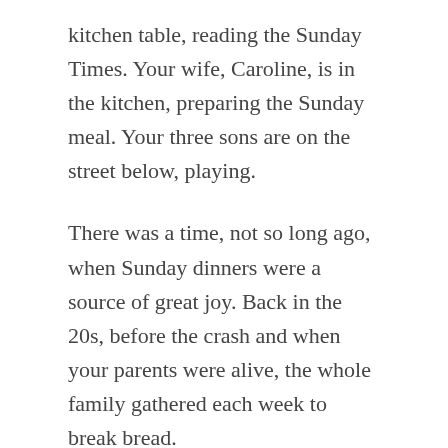kitchen table, reading the Sunday Times. Your wife, Caroline, is in the kitchen, preparing the Sunday meal. Your three sons are on the street below, playing.
There was a time, not so long ago, when Sunday dinners were a source of great joy. Back in the 20s, before the crash and when your parents were alive, the whole family gathered each week to break bread.
It was normal to have fifteen people in the apartment, and for at least five of those people to be kids. The chaos was overwhelming, but when everyone left, the silence reminded you of the